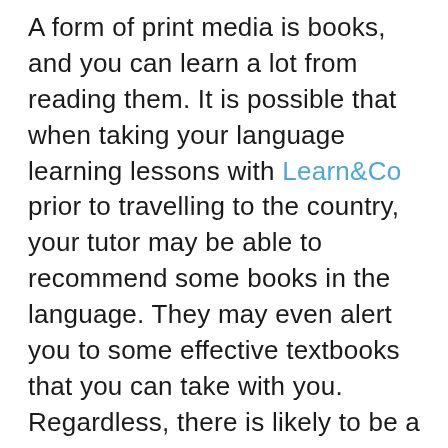A form of print media is books, and you can learn a lot from reading them. It is possible that when taking your language learning lessons with Learn&Co prior to travelling to the country, your tutor may be able to recommend some books in the language. They may even alert you to some effective textbooks that you can take with you. Regardless, there is likely to be a library or bookshop in the country. You can pick out books that suit your tastes, and chances are the books will be in the language you are learning. So reading them will give you a strong chance to improve your reading skills.